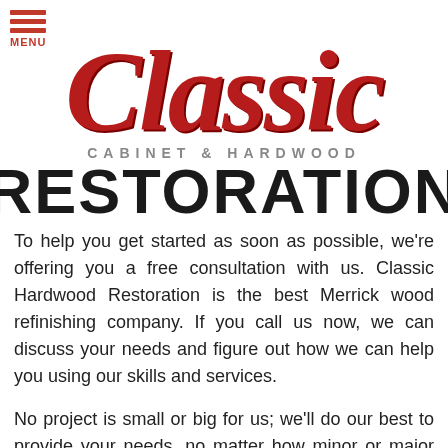[Figure (logo): Classic Cabinet & Hardwood Restoration logo with red cursive 'Classic' script and bold black 'RESTORATION' text]
To help you get started as soon as possible, we're offering you a free consultation with us. Classic Hardwood Restoration is the best Merrick wood refinishing company. If you call us now, we can discuss your needs and figure out how we can help you using our skills and services.
No project is small or big for us; we'll do our best to provide your needs, no matter how minor or major the kind of refinishing that you require. Let us help you improve your home by doing a fantastic wood refinishing for you.